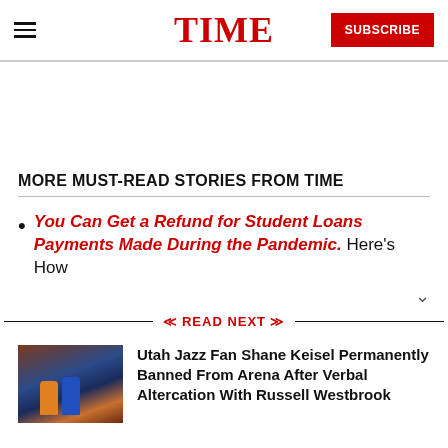TIME | SUBSCRIBE
MORE MUST-READ STORIES FROM TIME
You Can Get a Refund for Student Loans Payments Made During the Pandemic. Here's How
READ NEXT
Utah Jazz Fan Shane Keisel Permanently Banned From Arena After Verbal Altercation With Russell Westbrook